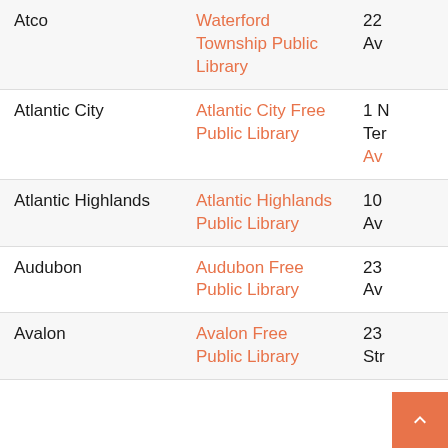| City | Library | Address |
| --- | --- | --- |
| Atco | Waterford Township Public Library | 22 Av |
| Atlantic City | Atlantic City Free Public Library | 1 N Ten Av |
| Atlantic Highlands | Atlantic Highlands Public Library | 10 Av |
| Audubon | Audubon Free Public Library | 23 Av |
| Avalon | Avalon Free Public Library | 23 Str |